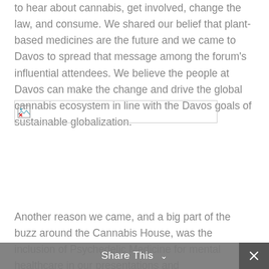to hear about cannabis, get involved, change the law, and consume. We shared our belief that plant-based medicines are the future and we came to Davos to spread that message among the forum's influential attendees. We believe the people at Davos can make the change and drive the global cannabis ecosystem in line with the Davos goals of sustainable globalization.
[Figure (photo): Broken image placeholder with small broken image icon in top-left corner, shown as a bordered rectangle.]
Another reason we came, and a big part of the buzz around the Cannabis House, was the inclusion of Psychedelic Medicine for mental healthcare in our presentations and
Share This ∨